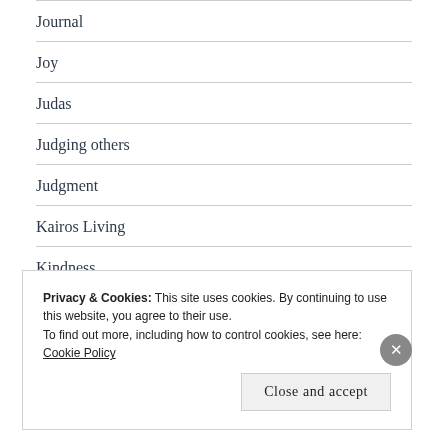Journal
Joy
Judas
Judging others
Judgment
Kairos Living
Kindness
Kingdom of God
Privacy & Cookies: This site uses cookies. By continuing to use this website, you agree to their use.
To find out more, including how to control cookies, see here: Cookie Policy
Close and accept